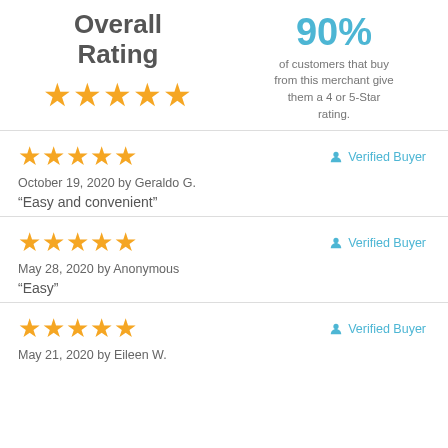Overall Rating
90%
of customers that buy from this merchant give them a 4 or 5-Star rating.
October 19, 2020 by Geraldo G.
“Easy and convenient”
Verified Buyer
May 28, 2020 by Anonymous
“Easy”
Verified Buyer
May 21, 2020 by Eileen W.
Verified Buyer